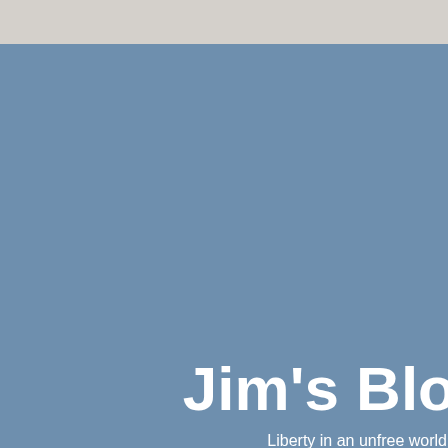Jim's Blog
Liberty in an unfree world
« On Fractional Reserve Banking
Putin de
Google is evil
With phones becoming more capable, an obvious w... create and sell a suite of productivity apps, so... produced Quickoffice, the product, to allow you to... documents on your phone, which product they sold... the company, sold lots and lots of copies of Quickoffic... became the leading productivity phone app, with three...
Google, the company, purchased Quickoffice...